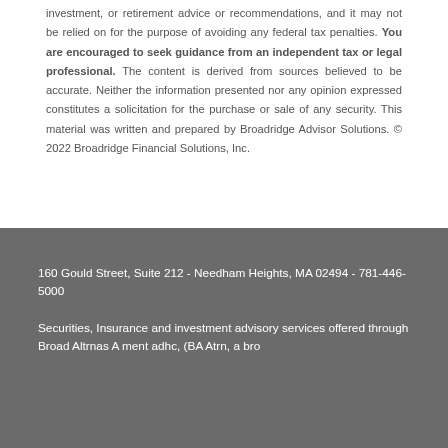investment, or retirement advice or recommendations, and it may not be relied on for the purpose of avoiding any federal tax penalties. You are encouraged to seek guidance from an independent tax or legal professional. The content is derived from sources believed to be accurate. Neither the information presented nor any opinion expressed constitutes a solicitation for the purchase or sale of any security. This material was written and prepared by Broadridge Advisor Solutions. © 2022 Broadridge Financial Solutions, Inc.
160 Gould Street, Suite 212 - Needham Heights, MA 02494 - 781-446-5000

Securities, Insurance and investment advisory services offered through Broadridge...